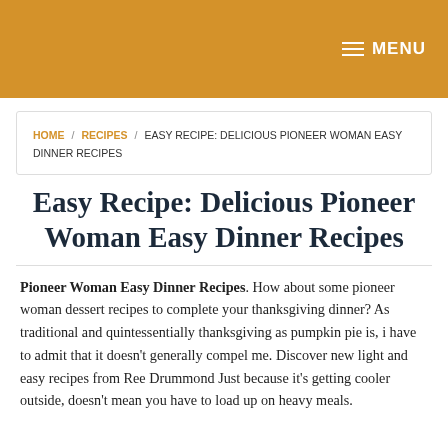MENU
HOME / RECIPES / EASY RECIPE: DELICIOUS PIONEER WOMAN EASY DINNER RECIPES
Easy Recipe: Delicious Pioneer Woman Easy Dinner Recipes
Pioneer Woman Easy Dinner Recipes. How about some pioneer woman dessert recipes to complete your thanksgiving dinner? As traditional and quintessentially thanksgiving as pumpkin pie is, i have to admit that it doesn't generally compel me. Discover new light and easy recipes from Ree Drummond Just because it's getting cooler outside, doesn't mean you have to load up on heavy meals.